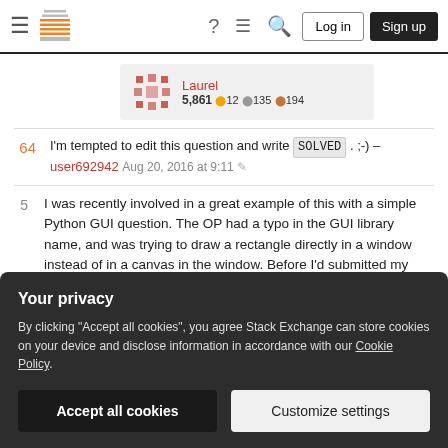Stack Exchange navigation: hamburger menu, logo, help, chat, search, Log in, Sign up
[Figure (screenshot): User card for Laurel with avatar, reputation 5,861, badges: 12 gold, 135 silver, 194 bronze]
I'm tempted to edit this question and write SOLVED . ;-) — user692942 Aug 20, 2016 at 9:11
I was recently involved in a great example of this with a simple Python GUI question. The OP had a typo in the GUI library name, and was trying to draw a rectangle directly in a window instead of in a canvas in the window. Before I'd submitted my answer 2 bad answers appeared; one just corrected the typo, the
Your privacy
By clicking "Accept all cookies", you agree Stack Exchange can store cookies on your device and disclose information in accordance with our Cookie Policy.
Accept all cookies
Customize settings
delete a question if it has a decent answer. He then